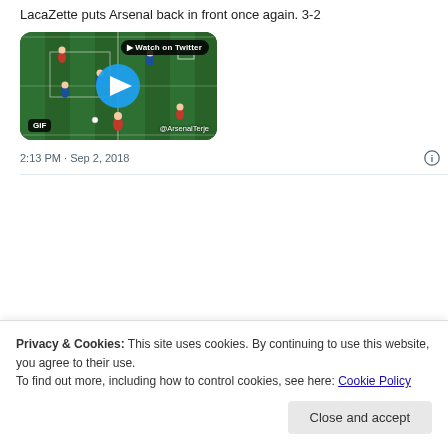LacaZette puts Arsenal back in front once again. 3-2
[Figure (screenshot): Video thumbnail of a soccer/football match on a green pitch with players in red and blue. A large blue play button is centered. Top right shows 'Watch on Twitter' badge. Bottom left shows 'GIF' badge. Bottom right shows '@ArsenalTerje' attribution.]
2:13 PM · Sep 2, 2018
Privacy & Cookies: This site uses cookies. By continuing to use this website, you agree to their use.
To find out more, including how to control cookies, see here: Cookie Policy
Close and accept